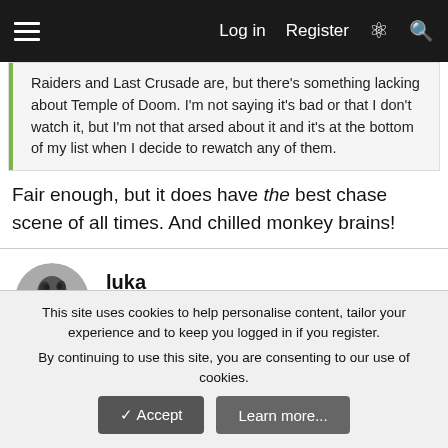Log in  Register
Raiders and Last Crusade are, but there's something lacking about Temple of Doom. I'm not saying it's bad or that I don't watch it, but I'm not that arsed about it and it's at the bottom of my list when I decide to rewatch any of them.
Fair enough, but it does have the best chase scene of all times. And chilled monkey brains!
luka
Well-known member
Oct 21, 2021
#165
That cult that rips out hearts. The bugs all over the tunnel. Too many images
This site uses cookies to help personalise content, tailor your experience and to keep you logged in if you register.
By continuing to use this site, you are consenting to our use of cookies.